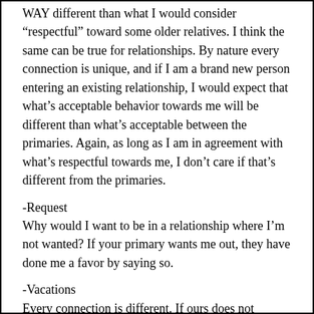WAY different than what I would consider “respectful” toward some older relatives. I think the same can be true for relationships. By nature every connection is unique, and if I am a brand new person entering an existing relationship, I would expect that what’s acceptable behavior towards me will be different than what’s acceptable between the primaries. Again, as long as I am in agreement with what’s respectful towards me, I don’t care if that’s different from the primaries.
-Request
Why would I want to be in a relationship where I’m not wanted? If your primary wants me out, they have done me a favor by saying so.
-Vacations
Every connection is different. If ours does not